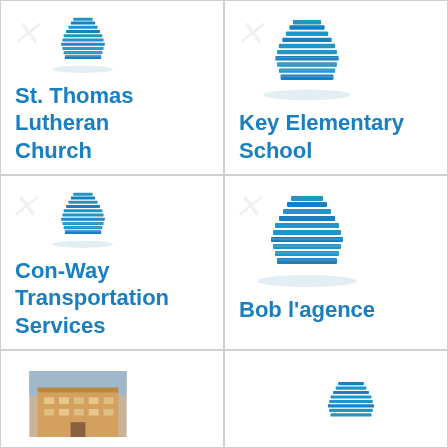[Figure (illustration): Blue building/office icon for St. Thomas Lutheran Church]
St. Thomas Lutheran Church
[Figure (illustration): Blue building/office icon for Key Elementary School]
Key Elementary School
[Figure (illustration): Blue building/office icon for Con-Way Transportation Services]
Con-Way Transportation Services
[Figure (illustration): Blue building/office icon for Bob l'agence]
Bob l'agence
[Figure (photo): Photo of a building (reddish/brick structure) for bottom-left cell]
[Figure (illustration): Partial blue building/office icon visible at bottom-right cell]